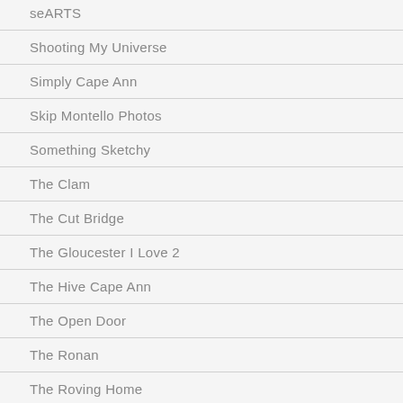seARTS
Shooting My Universe
Simply Cape Ann
Skip Montello Photos
Something Sketchy
The Clam
The Cut Bridge
The Gloucester I Love 2
The Hive Cape Ann
The Open Door
The Ronan
The Roving Home